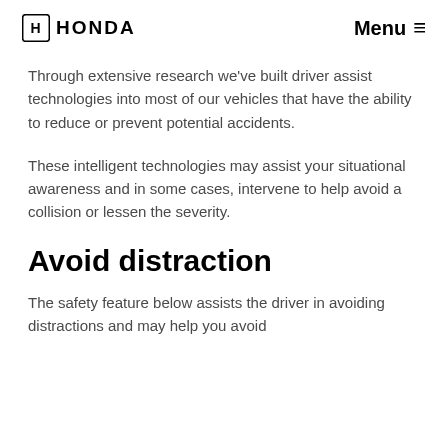HONDA  Menu
Through extensive research we've built driver assist technologies into most of our vehicles that have the ability to reduce or prevent potential accidents.
These intelligent technologies may assist your situational awareness and in some cases, intervene to help avoid a collision or lessen the severity.
Avoid distraction
The safety feature below assists the driver in avoiding distractions and may help you avoid